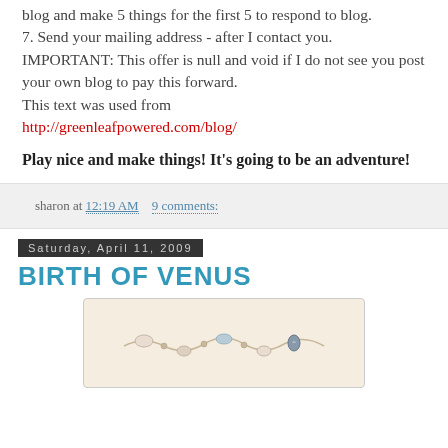blog and make 5 things for the first 5 to respond to blog.
7. Send your mailing address - after I contact you.
IMPORTANT: This offer is null and void if I do not see you post your own blog to pay this forward.
This text was used from
http://greenleafpowered.com/blog/
Play nice and make things! It's going to be an adventure!
sharon at 12:19 AM   9 comments:
Saturday, April 11, 2009
BIRTH OF VENUS
[Figure (photo): A piece of jewelry (bracelet or necklace) with light-colored beads and a decorative charm, photographed on a light beige background.]